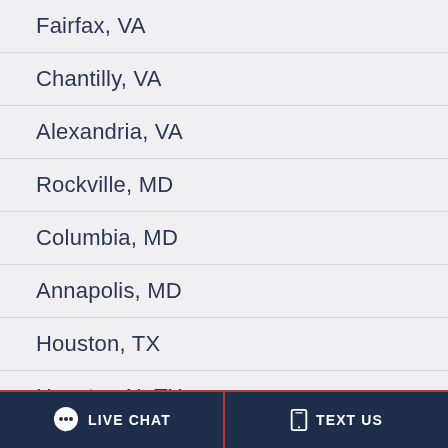Fairfax, VA
Chantilly, VA
Alexandria, VA
Rockville, MD
Columbia, MD
Annapolis, MD
Houston, TX
Houston N, TX
Atlanta, GA
LIVE CHAT   TEXT US